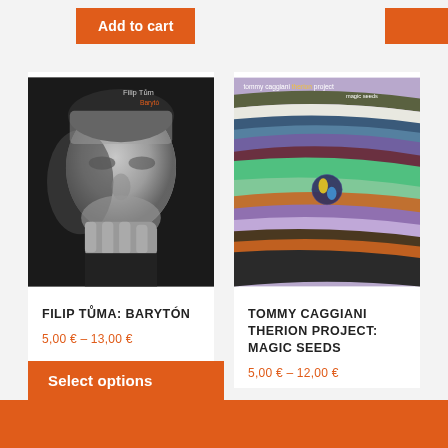Add to cart
Add to cart
[Figure (photo): Black and white portrait photo of Filip Tůma, a man resting his chin on his hand, looking at camera. Album cover text 'Filip Tůma Barytón' visible in top right corner.]
FILIP TŮMA: BARYTÓN
5,00 € – 13,00 €
[Figure (illustration): Album cover for Tommy Caggiani Therion Project: Magic Seeds. Colorful abstract wavy bands in purple, green, blue, orange, brown, white on a lavender background, with a small globe/sphere in the center. Title text 'tommy caggiani therion project magic seeds' in white.]
TOMMY CAGGIANI THERION PROJECT: MAGIC SEEDS
5,00 € – 12,00 €
Select options